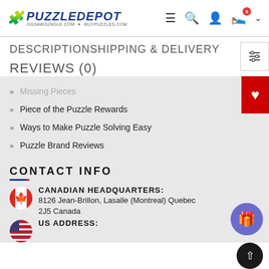PuzzleDepot — jigsawjungle.com · buypuzzles.com
DESCRIPTIONSHIPPING & DELIVERY
REVIEWS (0)
Missing Pieces
Piece of the Puzzle Rewards
Ways to Make Puzzle Solving Easy
Puzzle Brand Reviews
CONTACT INFO
CANADIAN HEADQUARTERS: 8126 Jean-Brillon, Lasalle (Montreal) Quebec 2J5 Canada
US ADDRESS: 100 W short Suite #8, 1011 Shreave in New York...